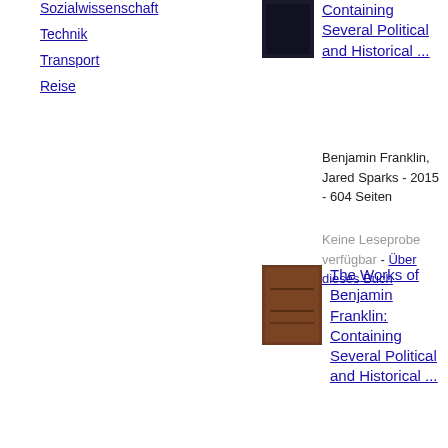Sozialwissenschaft
Technik
Transport
Reise
[Figure (photo): Small dark book cover image at top right]
Containing Several Political and Historical ...
Benjamin Franklin, Jared Sparks - 2015 - 604 Seiten
Keine Leseprobe verfügbar - Über dieses Buch
[Figure (photo): Brown book cover for The Works of Benjamin Franklin]
The Works of Benjamin Franklin: Containing Several Political and Historical ...